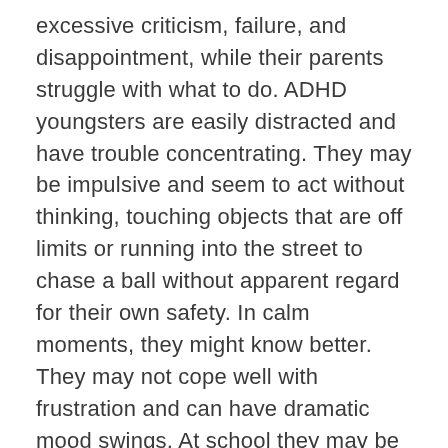excessive criticism, failure, and disappointment, while their parents struggle with what to do. ADHD youngsters are easily distracted and have trouble concentrating. They may be impulsive and seem to act without thinking, touching objects that are off limits or running into the street to chase a ball without apparent regard for their own safety. In calm moments, they might know better. They may not cope well with frustration and can have dramatic mood swings. At school they may be fidgety and brimming with energy, finding it difficult to sit still, jumping out of their seat constantly, as if unable to control their perpetual motion. They often have difficulty with sequencing